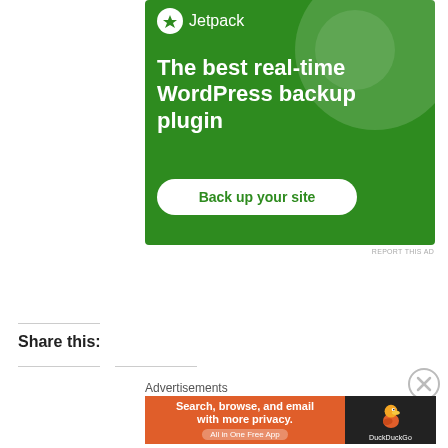[Figure (screenshot): Jetpack WordPress backup plugin advertisement on green background with bolt icon, tagline 'The best real-time WordPress backup plugin', and 'Back up your site' button]
REPORT THIS AD
Share this:
Advertisements
[Figure (screenshot): DuckDuckGo advertisement: orange left section says 'Search, browse, and email with more privacy. All in One Free App'; dark right section shows DuckDuckGo duck logo and brand name]